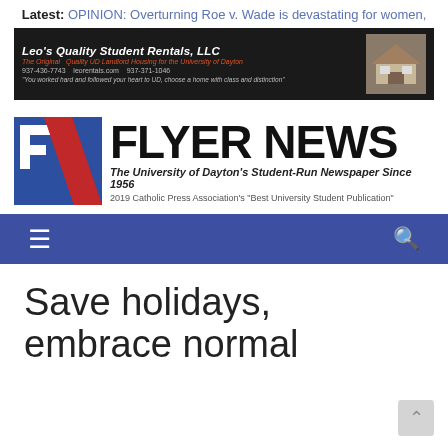Latest: OPINION: Overturning Roe v. Wade is devastating for women,
[Figure (photo): Leo's Quality Student Rentals, LLC advertisement banner with black background, showing logo text, contact numbers 937-436-7743 and 937-371-1046, website leorentals.com, and a photo of a house]
[Figure (logo): Flyer News logo: Blue and red stylized FN lettermark on the left, FLYER NEWS in large bold black text, tagline 'The University of Dayton's Student-Run Newspaper Since 1956', and '2019 Catholic Press Association's Best University Student Publication']
Navigation bar with hamburger menu and search icon
Save holidays, embrace normal